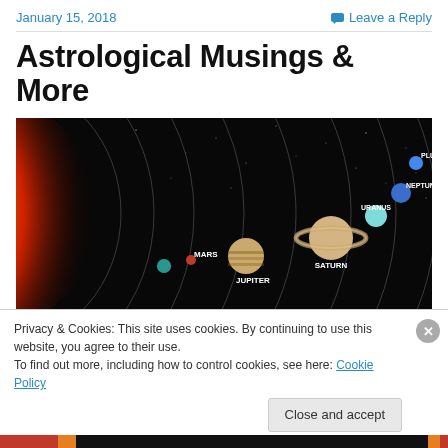January 15, 2018    Leave a Reply
Astrological Musings & More
[Figure (illustration): Solar system diagram on black background showing the Sun on the left (glowing orange/red), with orbital rings and labeled planets: Mars, Jupiter, Saturn, Uranus, Neptune, Pluto. A small Earth-like planet and other planets are visible.]
Privacy & Cookies: This site uses cookies. By continuing to use this website, you agree to their use.
To find out more, including how to control cookies, see here: Cookie Policy
Close and accept